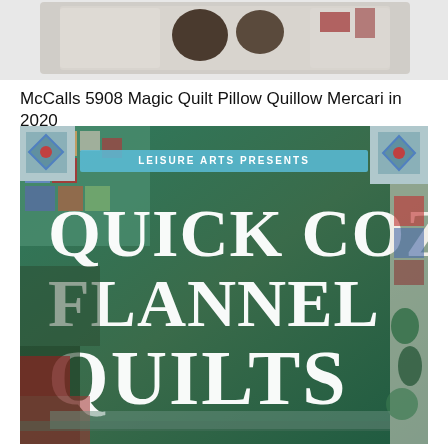[Figure (photo): Top portion of a pillow/quilt product photo on white background, partially cropped]
McCalls 5908 Magic Quilt Pillow Quillow Mercari in 2020
[Figure (photo): Book cover of 'Quick Cozy Flannel Quilts' presented by Leisure Arts, featuring colorful patchwork quilts with red, green, blue and cream fabrics arranged in a collage]